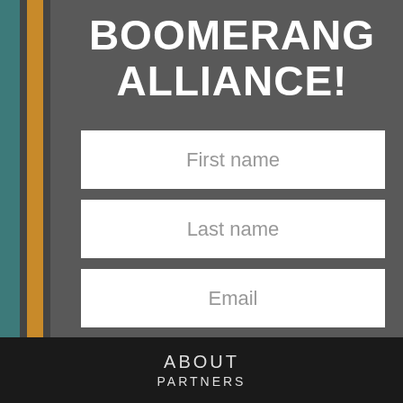BOOMERANG ALLIANCE!
First name
Last name
Email
State
JOIN NOW
ABOUT
PARTNERS